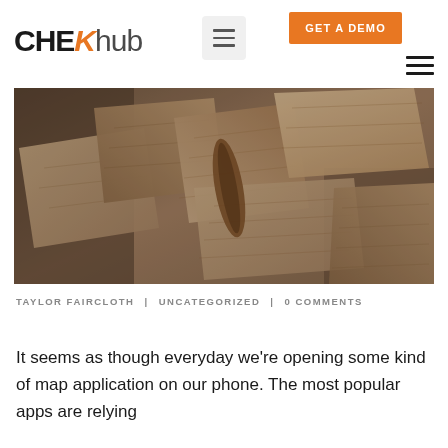CHEKhub | GET A DEMO
[Figure (photo): Overhead view of many old, weathered paper maps scattered and overlapping on a flat surface]
TAYLOR FAIRCLOTH   |   UNCATEGORIZED   |   0 COMMENTS
It seems as though everyday we're opening some kind of map application on our phone. The most popular apps are relying